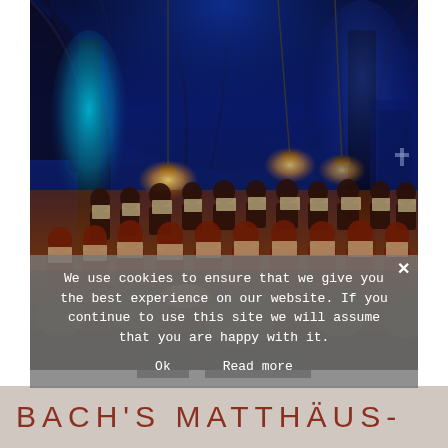[Figure (photo): A choir performing in a church illuminated with blue and warm amber stage lighting. Multiple rows of singers in dark and red robes hold sheet music. An audience is visible in the foreground silhouetted against the stage. Gothic arched architecture with blue-lit columns visible in the background.]
We use cookies to ensure that we give you the best experience on our website. If you continue to use this site we will assume that you are happy with it.
BACH'S MATTHÄUS-